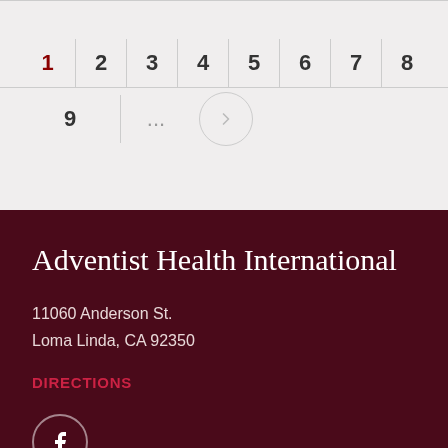[Figure (screenshot): Pagination control showing page numbers 1 through 9 with ellipsis and a next arrow button. Page 1 is highlighted in dark red/maroon.]
Adventist Health International
11060 Anderson St.
Loma Linda, CA 92350
DIRECTIONS
[Figure (logo): Facebook icon in a circle on dark maroon background]